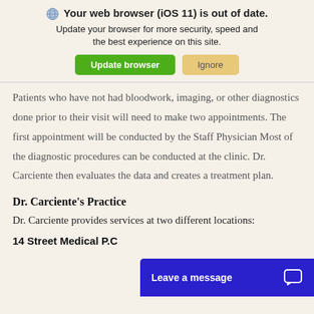[Figure (screenshot): Browser out-of-date notification banner with globe icon, title, subtitle, and two buttons (Update browser, Ignore)]
Patients who have not had bloodwork, imaging, or other diagnostics done prior to their visit will need to make two appointments. The first appointment will be conducted by the Staff Physician Most of the diagnostic procedures can be conducted at the clinic. Dr. Carciente then evaluates the data and creates a treatment plan.
Dr. Carciente's Practice
Dr. Carciente provides services at two different locations:
14 Street Medical P.C
[Figure (screenshot): Leave a message chat widget bar at bottom right, dark blue background]